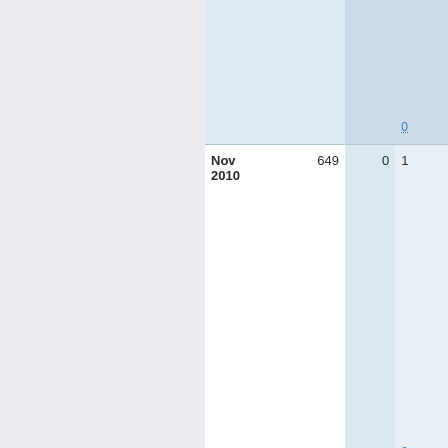| Date | Count | Col3 | Col4 |
| --- | --- | --- | --- |
|  |  |  |  |
| Nov 2010 | 649 | 0 | 0 |
| Oct 2010 | 718 | 0 | 0 |